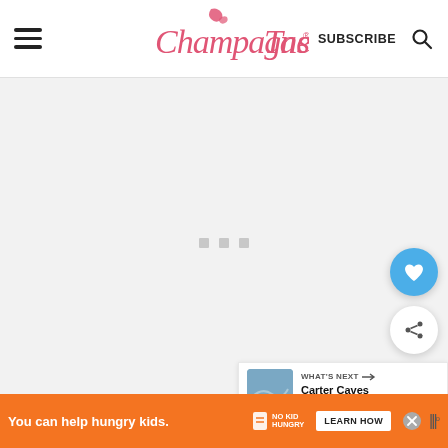ChampagneTastes® SUBSCRIBE
[Figure (photo): Loading placeholder area with three gray squares, representing a loading image or advertisement slot]
[Figure (illustration): Blue circular heart/favorite button floating on the right side]
[Figure (illustration): White circular share button floating on the right side]
[Figure (screenshot): What's Next widget showing a thumbnail of Carter Caves State Park with label 'WHAT'S NEXT → Carter Caves State Park...']
One of my favorite trails here is the T
[Figure (infographic): Orange advertisement banner: 'You can help hungry kids. NO KID HUNGRY. LEARN HOW' with close button]